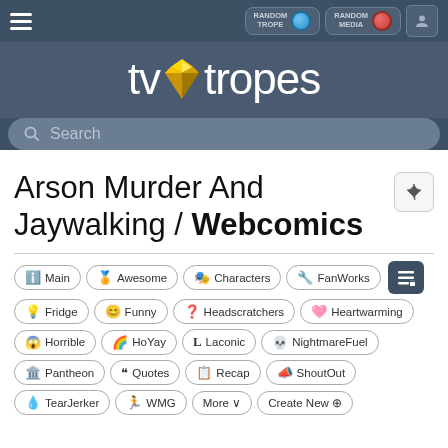[Figure (screenshot): TV Tropes website header with navigation bar showing hamburger menu, Random Trope button (blue), Random Media button (red), and user icon on dark blue background]
[Figure (logo): TV Tropes logo with yellow diamond gem and white text 'tvtropes' on dark blue background]
[Figure (screenshot): Search bar with magnifying glass icon and placeholder text 'Search' on medium blue-grey background]
Arson Murder And Jaywalking / Webcomics
[Figure (screenshot): Navigation tab pills row 1: Main, Awesome, Characters, FanWorks with dark menu button]
[Figure (screenshot): Navigation tab pills row 2: Fridge, Funny, Headscratchers, Heartwarming]
[Figure (screenshot): Navigation tab pills row 3: Horrible, HoYay, Laconic, NightmareFuel]
[Figure (screenshot): Navigation tab pills row 4: Pantheon, Quotes, Recap, ShoutOut]
[Figure (screenshot): Navigation tab pills row 5: TearJerker, WMG, More, Create New]